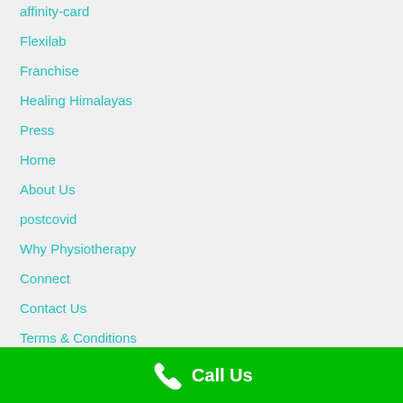affinity-card
Flexilab
Franchise
Healing Himalayas
Press
Home
About Us
postcovid
Why Physiotherapy
Connect
Contact Us
Terms & Conditions
Refund and Cancellation Policy
Call Us